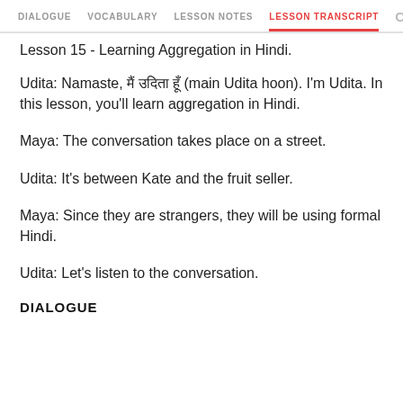DIALOGUE  VOCABULARY  LESSON NOTES  LESSON TRANSCRIPT
Lesson 15 - Learning Aggregation in Hindi.
Udita: Namaste, मैं उदिता हूँ (main Udita hoon). I'm Udita. In this lesson, you'll learn aggregation in Hindi.
Maya: The conversation takes place on a street.
Udita: It's between Kate and the fruit seller.
Maya: Since they are strangers, they will be using formal Hindi.
Udita: Let's listen to the conversation.
DIALOGUE